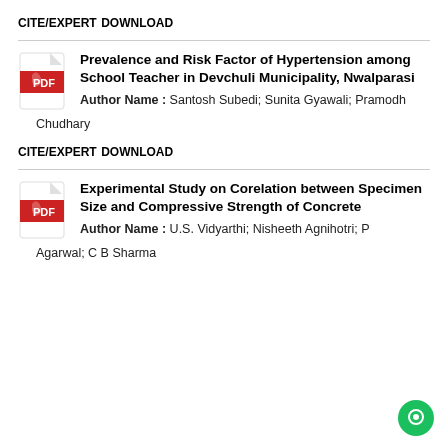CITE/EXPERT
DOWNLOAD
Prevalence and Risk Factor of Hypertension among School Teacher in Devchuli Municipality, Nwalparasi
Author Name : Santosh Subedi; Sunita Gyawali; Pramodh Chudhary
CITE/EXPERT
DOWNLOAD
Experimental Study on Corelation between Specimen Size and Compressive Strength of Concrete
Author Name : U.S. Vidyarthi; Nisheeth Agnihotri; P Agarwal; C B Sharma